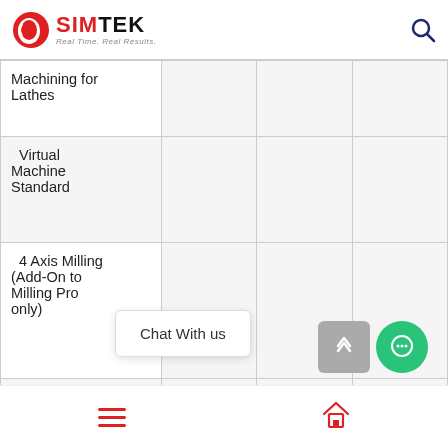SIMTEK — Real Time. Real Results.
| Feature | Col2 | Col3 | Col4 |
| --- | --- | --- | --- |
| Machining for Lathes |  |  |  |
| Virtual Machine Standard |  |  |  |
| 4 Axis Milling (Add-On to Milling Pro only) |  |  |  |
| 5 Axis Simultaneous |  |  |  |
Chat With us
Navigation: Menu | Home